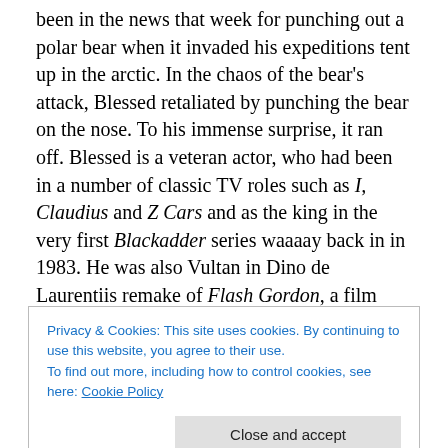been in the news that week for punching out a polar bear when it invaded his expeditions tent up in the arctic. In the chaos of the bear's attack, Blessed retaliated by punching the bear on the nose. To his immense surprise, it ran off. Blessed is a veteran actor, who had been in a number of classic TV roles such as I, Claudius and Z Cars and as the king in the very first Blackadder series waaaay back in in 1983. He was also Vultan in Dino de Laurentiis remake of Flash Gordon, a film which the Fortean Times described as 'camper than your gay uncle's dressing up box'. His best known line from that movie is his cry of 'Gordon's
Privacy & Cookies: This site uses cookies. By continuing to use this website, you agree to their use.
To find out more, including how to control cookies, see here: Cookie Policy
said that he has about 3,000 animals. He's also a